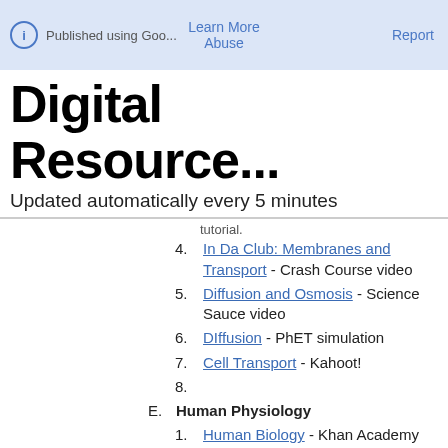Published using Goo...   Learn More   Report   Abuse
Digital Resource...
Updated automatically every 5 minutes
4. In Da Club: Membranes and Transport - Crash Course video
5. Diffusion and Osmosis - Science Sauce video
6. DIffusion - PhET simulation
7. Cell Transport - Kahoot!
8.
E. Human Physiology
1. Human Biology - Khan Academy